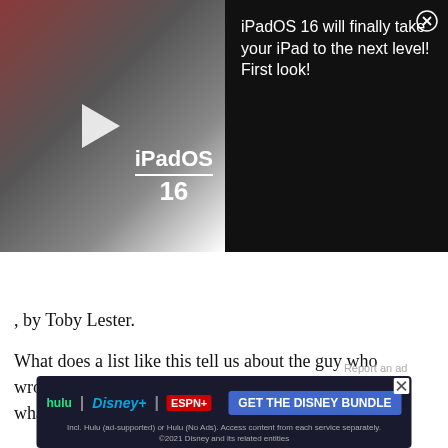[Figure (screenshot): Video advertisement banner for iPadOS 16: left side shows an iPad with keyboard and iPadOS 16 text overlay with play button; right side shows black background with white text 'iPadOS 16 will finally take your iPad to the next level! First look!' and a close (X) button.]
, by Toby Lester.
What does a list like this tell us about the guy who wrote it? Krulwich sees in this list an example of what the brain can do when it's allowed to really wander
[Figure (screenshot): Disney Bundle advertisement banner showing Hulu, Disney+, and ESPN+ logos with 'GET THE DISNEY BUNDLE' button in blue, and fine print: 'Incl. Hulu (ad-supported) or Hulu (No Ads). Access content from each service separately. ©2021 Disney and its related entities']